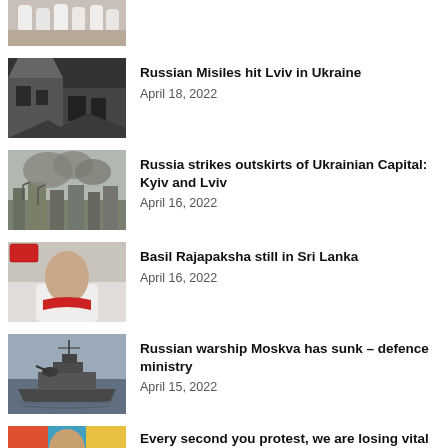[Figure (photo): Partial view of a news article thumbnail at top of page - people in white clothing]
[Figure (photo): Black and white photo of damaged building/explosion site]
Russian Misiles hit Lviv in Ukraine
April 18, 2022
[Figure (photo): Photo of smoke rising over city buildings]
Russia strikes outskirts of Ukrainian Capital: Kyiv and Lviv
April 16, 2022
[Figure (photo): Photo of a man in white shirt with red scarf]
Basil Rajapaksha still in Sri Lanka
April 16, 2022
[Figure (photo): Photo of a military warship on water]
Russian warship Moskva has sunk – defence ministry
April 15, 2022
[Figure (photo): Colorful photo partial view at bottom]
Every second you protest, we are losing vital dollars: